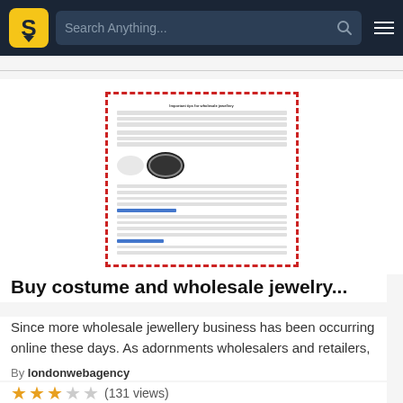Search Anything...
[Figure (screenshot): Document thumbnail showing an article titled 'Important tips for wholesale jewellery' with text paragraphs and a necklace image, bordered with red dashed border]
Buy costume and wholesale jewelry...
Since more wholesale jewellery business has been occurring online these days. As adornments wholesalers and retailers, y...
By londonwebagency
★★★☆☆ (131 views)